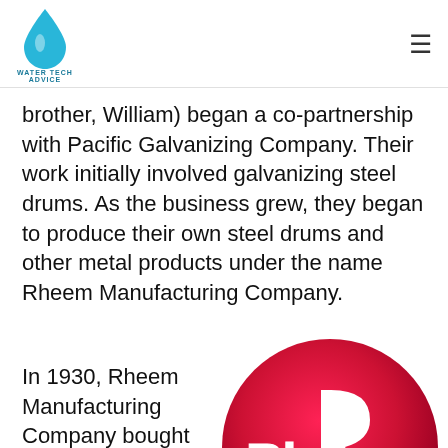Water Tech Advice
brother, William) began a co-partnership with Pacific Galvanizing Company. Their work initially involved galvanizing steel drums. As the business grew, they began to produce their own steel drums and other metal products under the name Rheem Manufacturing Company.
In 1930, Rheem Manufacturing Company bought the Republic Steel Package Company. This
[Figure (logo): Rheem brand logo — white 'Rheem' lettering on a circular red and dark red badge with white border]